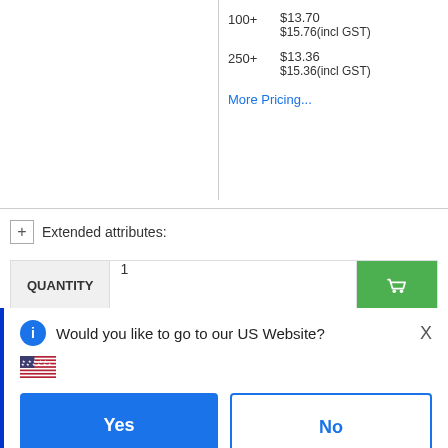| Qty | Price |
| --- | --- |
| 100+ | $13.70
$15.76(incl GST) |
| 250+ | $13.36
$15.36(incl GST) |
More Pricing...
Extended attributes:
QUANTITY  1
[Figure (screenshot): Modal dialog asking 'Would you like to go to our US Website?' with US flag, Yes and No buttons, or Choose country link, and a remember choice checkbox]
Would you like to go to our US Website?
Yes
No
or  Choose country
Remember this choice and automatically redirect me in the future
$8.99(incl GST)